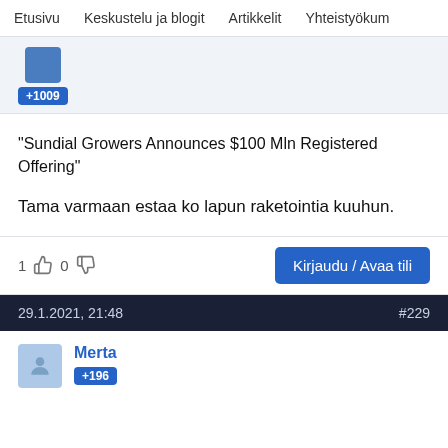Etusivu   Keskustelu ja blogit   Artikkelit   Yhteistyökum
[Figure (other): User avatar with badge +1009]
"Sundial Growers Announces $100 Mln Registered Offering"
Tama varmaan estaa ko lapun raketointia kuuhun.
1 👍 0 👎
Kirjaudu / Avaa tili
29.1.2021, 21:48   #229
Merta +196